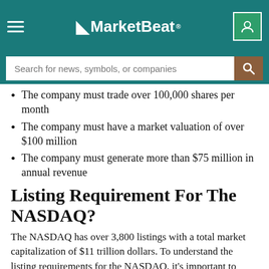MarketBeat
The company must trade over 100,000 shares per month
The company must have a market valuation of over $100 million
The company must generate more than $75 million in annual revenue
Listing Requirement For The NASDAQ?
The NASDAQ has over 3,800 listings with a total market capitalization of $11 trillion dollars. To understand the listing requirements for the NASDAQ, it's important to